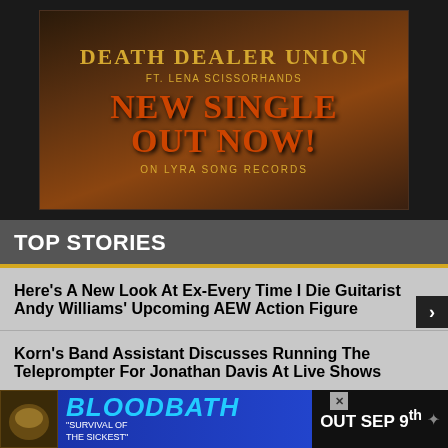[Figure (illustration): Death Dealer Union music promotion banner: dark fantasy background with gold and orange text. 'DEATH DEALER UNION' in gold serif caps, 'FT. LENA SCISSORHANDS' below, then 'NEW SINGLE OUT NOW!' in large orange serif caps, 'ON LYRA SONG RECORDS' in gold caps at bottom.]
TOP STORIES
Here's A New Look At Ex-Every Time I Die Guitarist Andy Williams' Upcoming AEW Action Figure
Korn's Band Assistant Discusses Running The Teleprompter For Jonathan Davis At Live Shows
Watc... Video "...o" With
[Figure (illustration): Bloodbath advertisement banner: album artwork thumbnail on left, blue gradient background with 'BLOODBATH' in large cyan italic bold text, 'SURVIVAL OF THE SICKEST' subtitle, and 'OUT SEP 9th' on black right panel with skull icon.]